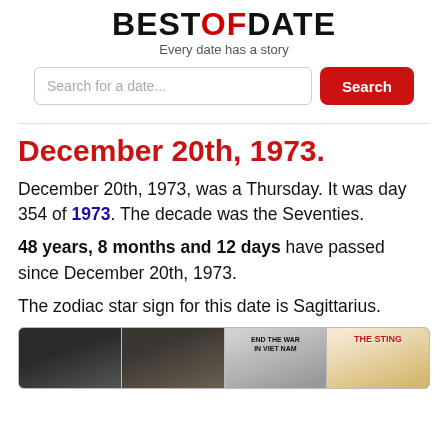BESTOFDATE - Every date has a story
December 20th, 1973.
December 20th, 1973, was a Thursday. It was day 354 of 1973. The decade was the Seventies.
48 years, 8 months and 12 days have passed since December 20th, 1973.
The zodiac star sign for this date is Sagittarius.
[Figure (photo): Strip of four historical images from 1973 including a person, Nixon, a protest sign reading END THE WAR IN VIET NAM, and The Sting movie poster]